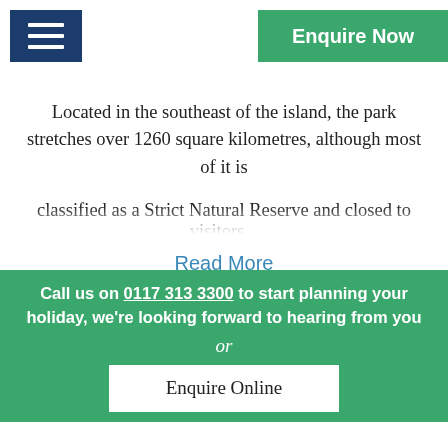Enquire Now
Located in the southeast of the island, the park stretches over 1260 square kilometres, although most of it is classified as a Strict Natural Reserve and closed to visitors...
Read More
Call us on 0117 313 3300 to start planning your holiday, we're looking forward to hearing from you
or
Enquire Online
Best times to visit Yala National Park